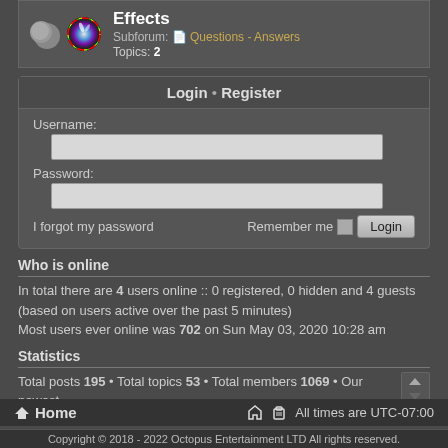Effects
Subforum: Questions - Answers
Topics: 2
Login • Register
Username:
Password:
I forgot my password  Remember me  Login
Who is online
In total there are 4 users online :: 0 registered, 0 hidden and 4 guests (based on users active over the past 5 minutes)
Most users ever online was 702 on Sun May 03, 2020 10:28 am
Statistics
Total posts 195 • Total topics 53 • Total members 1069 • Our newest member RichardNef
Home  All times are UTC-07:00
Copyright © 2018 - 2022 Octopus Entertainment LTD All rights reserved.